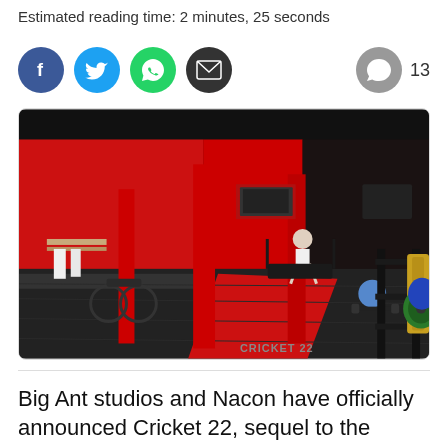Estimated reading time: 2 minutes, 25 seconds
[Figure (infographic): Social sharing icons: Facebook (blue circle), Twitter (light blue circle), WhatsApp (green circle), Email (black circle), and a comment count bubble showing 13]
[Figure (photo): Screenshot from Cricket 22 video game showing a gym interior with red walls, red and black columns, gym equipment including weights and barbells, treadmills, and a person on a treadmill. Cricket 22 watermark in bottom right corner.]
Big Ant studios and Nacon have officially announced Cricket 22, sequel to the...